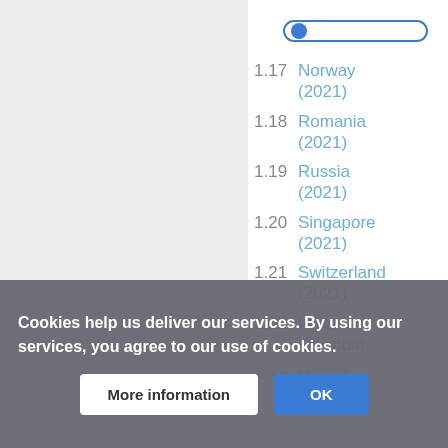[Figure (screenshot): Search bar with blue circle and white rounded rectangle input field]
1.17 Norway (2021)
1.18 Romania (2021)
1.19 Russia (2021)
1.20 Singapore (2021)
1.21 Switzerland (2021)
1.22 United Kingdom
1.23 United Kingdom
Cookies help us deliver our services. By using our services, you agree to our use of cookies.
More information | OK